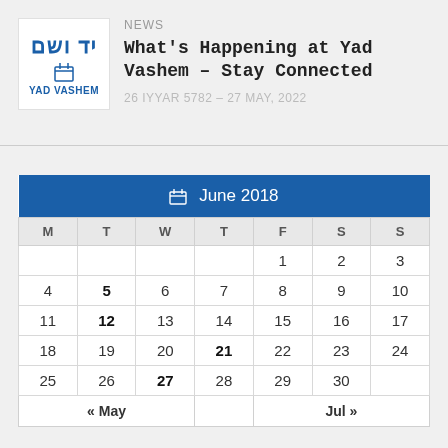[Figure (logo): Yad Vashem logo with Hebrew text יד ושם and English YAD VASHEM]
NEWS
What's Happening at Yad Vashem – Stay Connected
26 IYYAR 5782 – 27 MAY, 2022
| June 2018 |
| --- |
| M | T | W | T | F | S | S |
|  |  |  |  | 1 | 2 | 3 |
| 4 | 5 | 6 | 7 | 8 | 9 | 10 |
| 11 | 12 | 13 | 14 | 15 | 16 | 17 |
| 18 | 19 | 20 | 21 | 22 | 23 | 24 |
| 25 | 26 | 27 | 28 | 29 | 30 |  |
| « May |  |  |  | Jul » |  |  |